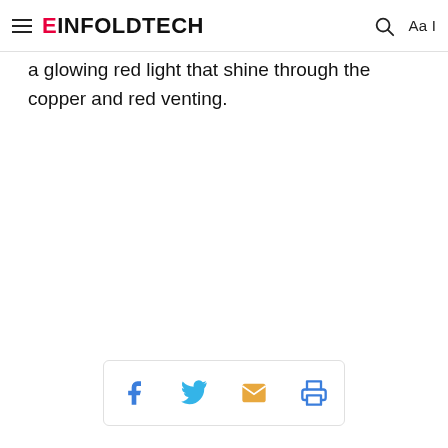EINFOLDTECH
a glowing red light that shine through the copper and red venting.
[Figure (other): Social sharing buttons: Facebook, Twitter, Email, Print]